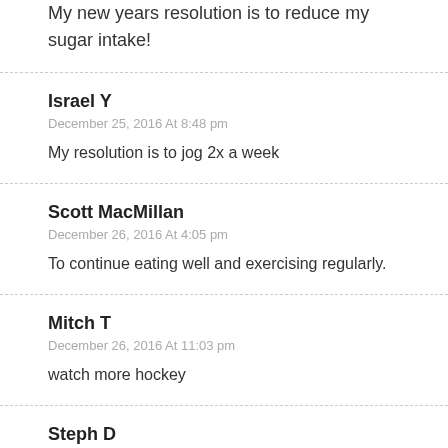My new years resolution is to reduce my sugar intake!
Israel Y
December 25, 2016 At 8:48 pm
My resolution is to jog 2x a week
Scott MacMillan
December 26, 2016 At 4:05 pm
To continue eating well and exercising regularly.
Mitch T
December 26, 2016 At 11:03 pm
watch more hockey
Steph D
December 28, 2016 At 3:08 pm